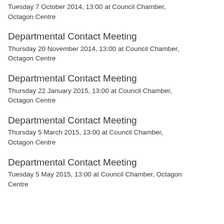Tuesday 7 October 2014, 13:00 at Council Chamber, Octagon Centre
Departmental Contact Meeting
Thursday 20 November 2014, 13:00 at Council Chamber, Octagon Centre
Departmental Contact Meeting
Thursday 22 January 2015, 13:00 at Council Chamber, Octagon Centre
Departmental Contact Meeting
Thursday 5 March 2015, 13:00 at Council Chamber, Octagon Centre
Departmental Contact Meeting
Tuesday 5 May 2015, 13:00 at Council Chamber, Octagon Centre